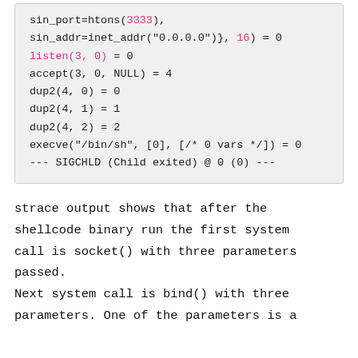[Figure (screenshot): Code block showing strace output with system calls: sin_port=htons(3333), sin_addr=inet_addr with highlighted values, listen, accept, dup2 calls, execve, and SIGCHLD signal]
strace output shows that after the shellcode binary run the first system call is socket() with three parameters passed.
Next system call is bind() with three parameters. One of the parameters is a